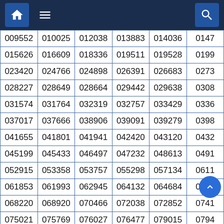Navigation bar with home, menu, and search icons
| 009552 | 010025 | 012038 | 013883 | 014036 | 0147… |
| 015626 | 016609 | 018336 | 019511 | 019528 | 0199… |
| 023420 | 024766 | 024898 | 026391 | 026683 | 0273… |
| 028227 | 028649 | 028664 | 029442 | 029638 | 0308… |
| 031574 | 031764 | 032319 | 032757 | 033429 | 0336… |
| 037017 | 037666 | 038906 | 039091 | 039279 | 0398… |
| 041655 | 041801 | 041941 | 042420 | 043120 | 0432… |
| 045199 | 045433 | 046497 | 047232 | 048613 | 0491… |
| 052915 | 053358 | 053757 | 055298 | 057134 | 0611… |
| 061853 | 061993 | 062945 | 064132 | 064684 | 0663… |
| 068220 | 068920 | 070466 | 072038 | 072852 | 0741… |
| 075021 | 075769 | 076027 | 076477 | 079015 | 0794… |